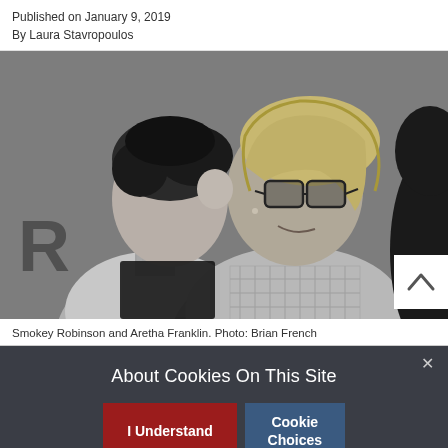Published on January 9, 2019
By Laura Stavropoulos
[Figure (photo): Black and white photo of Smokey Robinson and Aretha Franklin embracing, with Smokey kissing Aretha on the cheek. Aretha wears glasses and is smiling. Photo credit: Brian French.]
Smokey Robinson and Aretha Franklin. Photo: Brian French
About Cookies On This Site
I Understand
Cookie Choices